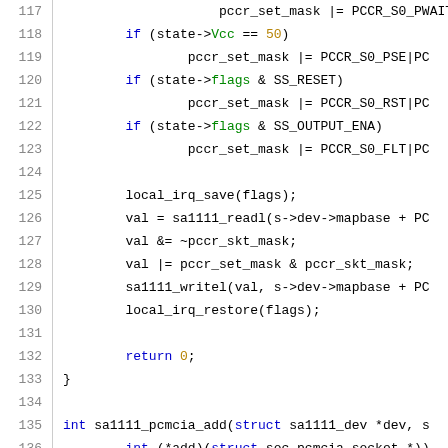[Figure (screenshot): Source code listing lines 117-137 in C, showing a function body with conditional statements setting pccr_set_mask, local IRQ save/restore, and a new function declaration sa1111_pcmcia_add.]